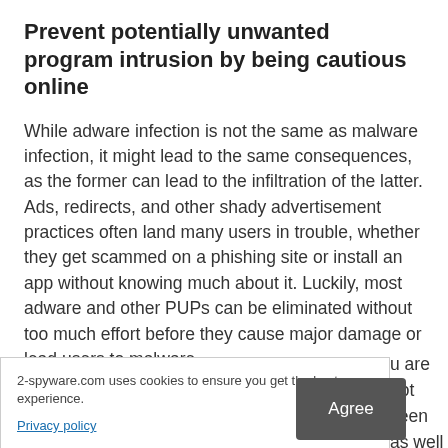Prevent potentially unwanted program intrusion by being cautious online
While adware infection is not the same as malware infection, it might lead to the same consequences, as the former can lead to the infiltration of the latter. Ads, redirects, and other shady advertisement practices often land many users in trouble, whether they get scammed on a phishing site or install an app without knowing much about it. Luckily, most adware and other PUPs can be eliminated without too much effort before they cause major damage or lead users to malware.
However, keep in mind that even an unintentional click can
u are not keen
as well as the
able to malware
run a malicious
2-spyware.com uses cookies to ensure you get the best experience.
Privacy policy
Agree